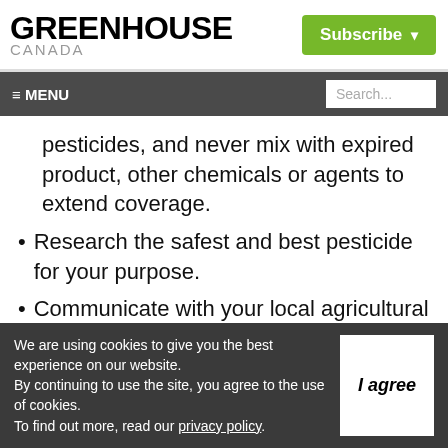GREENHOUSE CANADA
Subscribe
≡ MENU | Search...
pesticides, and never mix with expired product, other chemicals or agents to extend coverage.
Research the safest and best pesticide for your purpose.
Communicate with your local agricultural associations about product updates and
We are using cookies to give you the best experience on our website. By continuing to use the site, you agree to the use of cookies. To find out more, read our privacy policy.